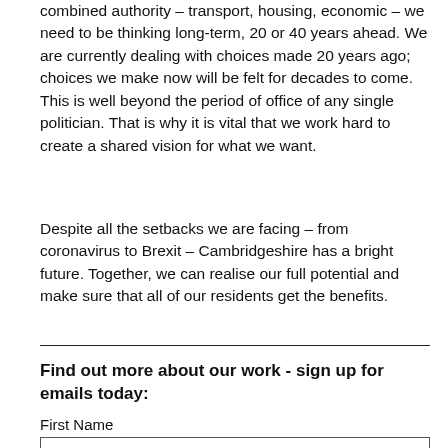combined authority – transport, housing, economic – we need to be thinking long-term, 20 or 40 years ahead. We are currently dealing with choices made 20 years ago; choices we make now will be felt for decades to come. This is well beyond the period of office of any single politician. That is why it is vital that we work hard to create a shared vision for what we want.
Despite all the setbacks we are facing – from coronavirus to Brexit – Cambridgeshire has a bright future. Together, we can realise our full potential and make sure that all of our residents get the benefits.
Find out more about our work - sign up for emails today:
First Name